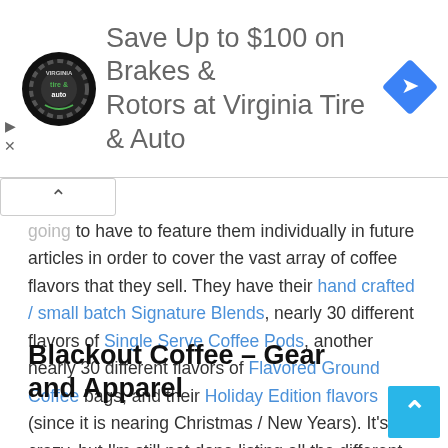[Figure (other): Advertisement banner: Virginia Tire & Auto logo (circular black badge with green and white text), headline 'Save Up to $100 on Brakes & Rotors at Virginia Tire & Auto', blue diamond-shaped arrow icon on the right. Small play and X icons on the left edge.]
going to have to feature them individually in future articles in order to cover the vast array of coffee flavors that they sell. They have their hand crafted / small batch Signature Blends, nearly 30 different flavors of Single Serve Coffee Pods, another nearly 30 different flavors of Flavored Ground Coffee bags, and their Holiday Edition flavors (since it is nearing Christmas / New Years). It's crazy, but I'm still not done listing all the different types of coffee they have. We can't leave out all of their Bulk Five Pound Bags, of course. There is just so much coffee to choose from!
Blackout Coffee – Gear and Apparel